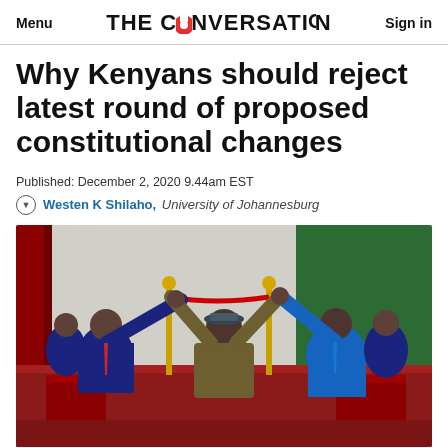Menu | THE CONVERSATION | Sign in
Why Kenyans should reject latest round of proposed constitutional changes
Published: December 2, 2020 9.44am EST
Westen K Shilaho, University of Johannesburg
[Figure (photo): Three men celebrating together on a stage with red curtains and ceremony decorations. The man in the center wears a patterned shirt and raises both arms, holding hands with two men in dark suits on either side.]